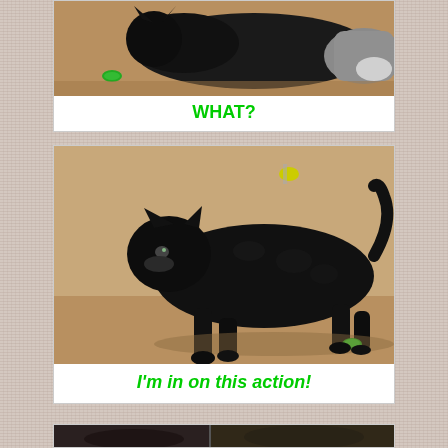[Figure (photo): Black cat viewed from above, lying/crouching on a tan/beige floor. A green bottle cap is visible to the left. Another cat or animal is partially visible at the right edge.]
WHAT?
[Figure (photo): Black cat walking or strutting on a tan floor, viewed from the side. The cat appears to be in motion with one front paw raised. A small green object is visible near the cat's back paw. A yellow/green object is visible in the background upper area.]
I'm in on this action!
[Figure (photo): Partial view of a third image at the bottom of the page, partially cut off. Appears to show another cat or scene.]